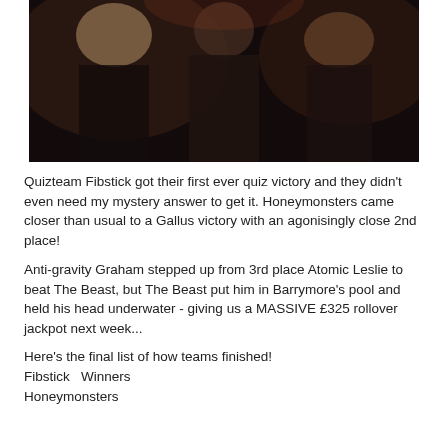[Figure (photo): Dark photo of three people smiling, taken in a dim indoor setting. Two people visible on left and right sides, one in center.]
Quizteam Fibstick got their first ever quiz victory and they didn't even need my mystery answer to get it. Honeymonsters came closer than usual to a Gallus victory with an agonisingly close 2nd place!
Anti-gravity Graham stepped up from 3rd place Atomic Leslie to beat The Beast, but The Beast put him in Barrymore's pool and held his head underwater - giving us a MASSIVE £325 rollover jackpot next week...
Here's the final list of how teams finished!
Fibstick  Winners
Honeymonsters